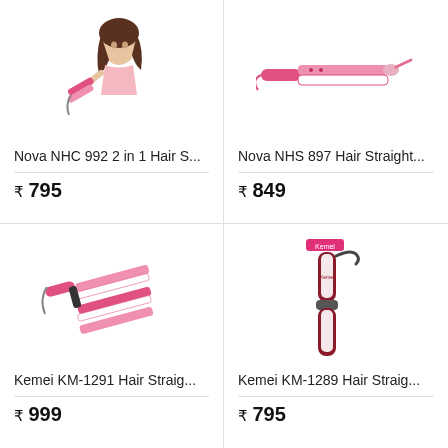[Figure (illustration): Woman using pink hair straightener/curler product - Nova NHC 992]
Nova NHC 992 2 in 1 Hair S...
₹ 795
[Figure (illustration): Pink Nova NHS 897 hair straightener product image]
Nova NHS 897 Hair Straight...
₹ 849
[Figure (illustration): Kemei KM-1291 pink and white hair straightener product image]
Kemei KM-1291 Hair Straig...
₹ 999
[Figure (illustration): Kemei KM-1289 dark red and white hair straightener with Kemei logo]
Kemei KM-1289 Hair Straig...
₹ 795